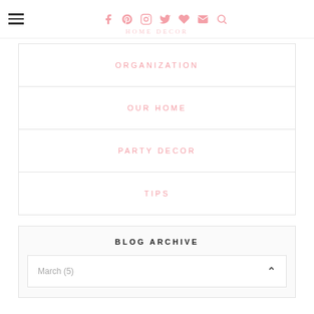HOME DECOR (partial, navigation header with social icons)
ORGANIZATION
OUR HOME
PARTY DECOR
TIPS
BLOG ARCHIVE
March (5)